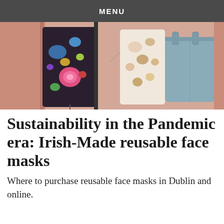MENU
[Figure (photo): Photo of colorful floral fabric face masks hanging on a stand, with a light blue tote bag in the background against a pink wooden wall.]
Sustainability in the Pandemic era: Irish-Made reusable face masks
Where to purchase reusable face masks in Dublin and online.